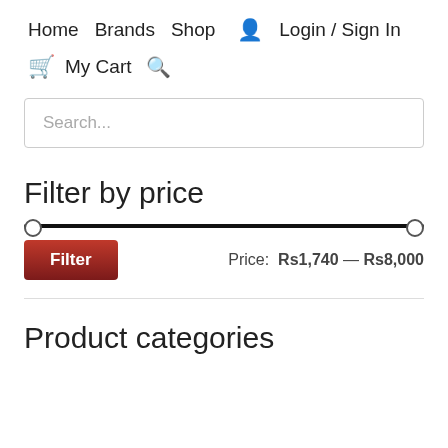Home  Brands  Shop  Login / Sign In
My Cart
Search...
Filter by price
[Figure (other): Price range slider with two handles spanning full width, track in black]
Filter  Price: Rs1,740 — Rs8,000
Product categories